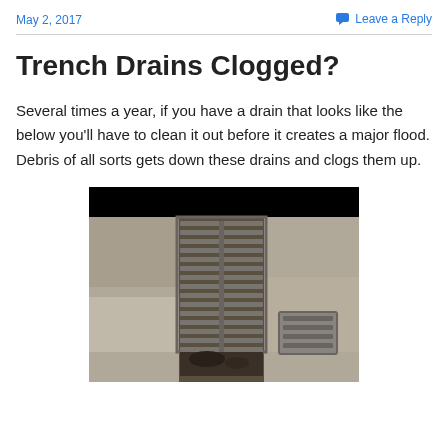May 2, 2017
Leave a Reply
Trench Drains Clogged?
Several times a year, if you have a drain that looks like the below you'll have to clean it out before it creates a major flood. Debris of all sorts gets down these drains and clogs them up.
[Figure (photo): A clogged trench drain with a metal grate partially removed, showing debris and dirt accumulated inside the drain channel. The top portion of the image has a black bar.]